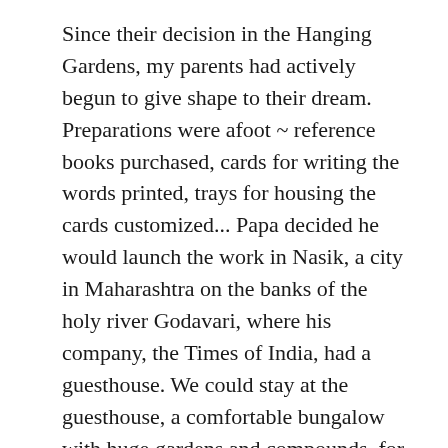Since their decision in the Hanging Gardens, my parents had actively begun to give shape to their dream. Preparations were afoot ~ reference books purchased, cards for writing the words printed, trays for housing the cards customized... Papa decided he would launch the work in Nasik, a city in Maharashtra on the banks of the holy river Godavari, where his company, the Times of India, had a guesthouse. We could stay at the guesthouse, a comfortable bungalow with huge gardens and compounds, for the entire summer while papa began work on the thesaurus.
Rising early that day, the four of us made our way to the Godavari for a dip. Everything seemed special that day. The glow from the rising sun, the near-empty banks, the pigeons on